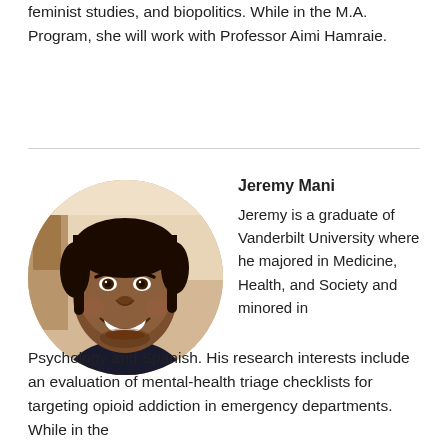feminist studies, and biopolitics. While in the M.A. Program, she will work with Professor Aimi Hamraie.
[Figure (photo): Circular headshot photo of Jeremy Mani, a young man with dark hair and a big smile, wearing a dark shirt, photographed indoors.]
Jeremy Mani
Jeremy is a graduate of Vanderbilt University where he majored in Medicine, Health, and Society and minored in Psychology and Spanish. His research interests include an evaluation of mental-health triage checklists for targeting opioid addiction in emergency departments. While in the M.A. program, he will work with Professor Brandy Relf...